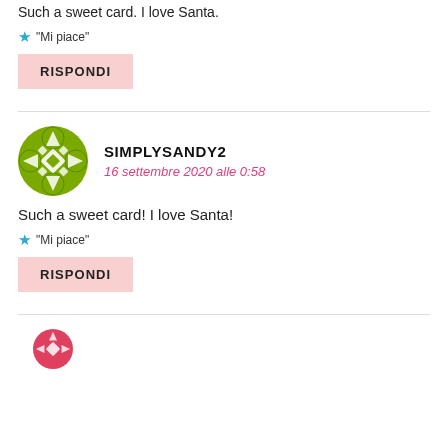Such a sweet card. I love Santa.
★ "Mi piace"
RISPONDI
SIMPLYSANDY2
16 settembre 2020 alle 0:58
Such a sweet card! I love Santa!
★ "Mi piace"
RISPONDI
[Figure (illustration): Partial view of a circular avatar icon with red/pink color at bottom of page]